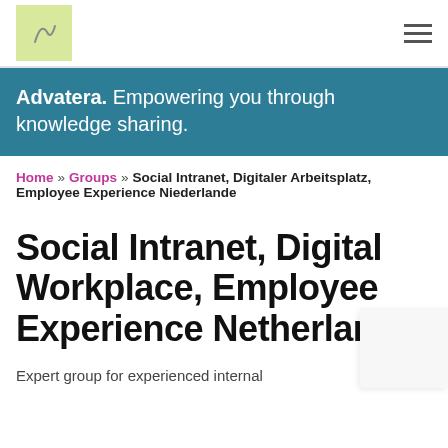Advatera logo and navigation menu
Advatera. Empowering you through knowledge sharing.
Home » Groups » Social Intranet, Digitaler Arbeitsplatz, Employee Experience Niederlande
Social Intranet, Digital Workplace, Employee Experience Netherlands
Expert group for experienced internal